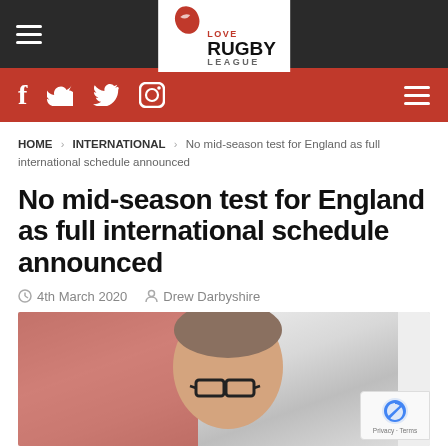Love Rugby League - navigation header
Social icons bar: Facebook, Twitter, Instagram
HOME > INTERNATIONAL > No mid-season test for England as full international schedule announced
No mid-season test for England as full international schedule announced
4th March 2020  Drew Darbyshire
[Figure (photo): Photo of a man with glasses in front of a red background with rugby league logo]